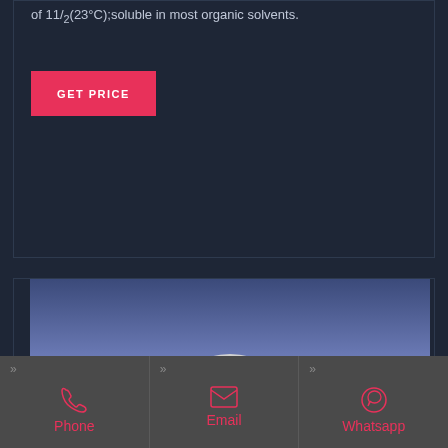of 11/2(23°C);soluble in most organic solvents.
GET PRICE
[Figure (photo): A partial view of a round disc or tablet of white/grey solid chemical material against a blue background.]
Phone
Email
Whatsapp